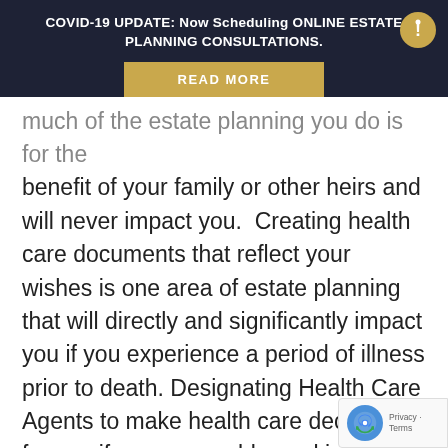COVID-19 UPDATE: Now Scheduling ONLINE ESTATE PLANNING CONSULTATIONS.
much of the estate planning you do is for the benefit of your family or other heirs and will never impact you.  Creating health care documents that reflect your wishes is one area of estate planning that will directly and significantly impact you if you experience a period of illness prior to death. Designating Health Care Agents to make health care decisions for you if you are unable, making sure the people you want to be able to get information from your physicians can do so and will not be obstructed by privacy laws, and determining your course of care, and do
[Figure (other): reCAPTCHA badge with logo and Privacy-Terms text]